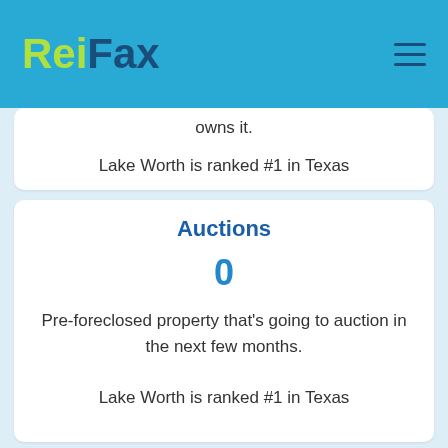ReiFax
owns it.

Lake Worth is ranked #1 in Texas
Auctions
0
Pre-foreclosed property that's going to auction in the next few months.

Lake Worth is ranked #1 in Texas
Repairs For Sale